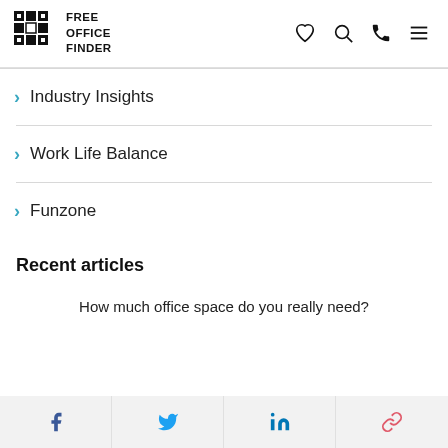FREE OFFICE FINDER
Industry Insights
Work Life Balance
Funzone
Recent articles
How much office space do you really need?
[Figure (infographic): Social share bar with Facebook, Twitter, LinkedIn, and link icons]